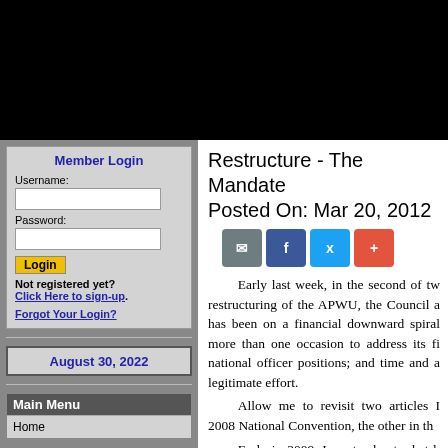[Figure (screenshot): Black header banner across the top of the page]
Member Login
Username:
Password:
Not registered yet? Click Here to sign-up.
Forgot Your Login?
August 30, 2022
Main Menu
Home
Restructure - The Mandate
Posted On: Mar 20, 2012
Early last week, in the second of two restructuring of the APWU, the Council a has been on a financial downward spiral more than one occasion to address its fi national officer positions; and time and a legitimate effort.
Allow me to revisit two articles I 2008 National Convention, the other in th
Early in 2009, I wrote about what h mean to us –